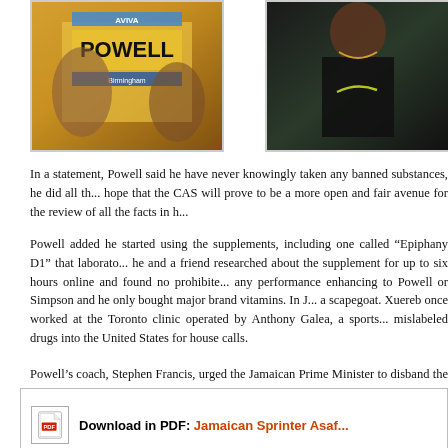[Figure (photo): Photo of Asafa Powell wearing race bib with POWELL text and AVIVA/Birmingham logos]
[Figure (photo): Photo of a sprinter wearing Nike gear with gold necklace]
In a statement, Powell said he have never knowingly taken any banned substances, he did all th... hope that the CAS will prove to be a more open and fair avenue for the review of all the facts in h...
Powell added he started using the supplements, including one called “Epiphany D1” that laborato... he and a friend researched about the supplement for up to six hours online and found no prohibite... any performance enhancing to Powell or Simpson and he only bought major brand vitamins. In J... a scapegoat. Xuereb once worked at the Toronto clinic operated by Anthony Galea, a sports... mislabeled drugs into the United States for house calls.
Powell’s coach, Stephen Francis, urged the Jamaican Prime Minister to disband the country’s anti... to a credible overseas testing agency. Francis remarked they need to sub-contract it to England... because obviously we in Jamaica can’t do this thing properly and it is embarrassment after embar...
[Figure (other): PDF download icon]
Download in PDF: Jamaican Sprinter Asaf...
Tags: Allison Randall, Asafa Powell, Commonwealth Games, Oxilofrine, Sherone Simpson
Posted in Celebrities and Steroids, Performance Enhancing Drug Abuse, Steroids and Anabolic Steroids...